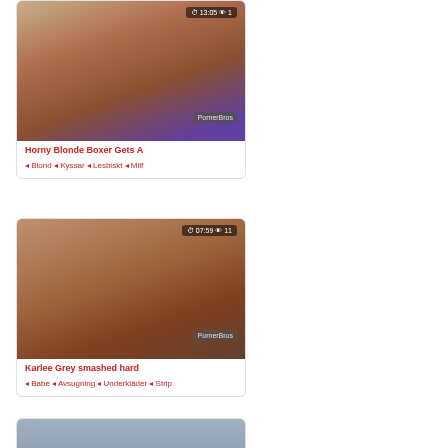[Figure (screenshot): Video thumbnail for 'Horny Blonde Boxer Gets A' with duration 13:05 and 1 view]
Horny Blonde Boxer Gets A
♦ Blond ♦ Kyssar ♦ Lesbiskt ♦ Milf
[Figure (screenshot): Video thumbnail for 'Karlee Grey smashed hard' with duration 07:59 and 11 views]
Karlee Grey smashed hard
♦ Babe ♦ Avsugning ♦ Underkläder ♦ Strip
[Figure (screenshot): Partial video thumbnail (third card, cut off at bottom)]